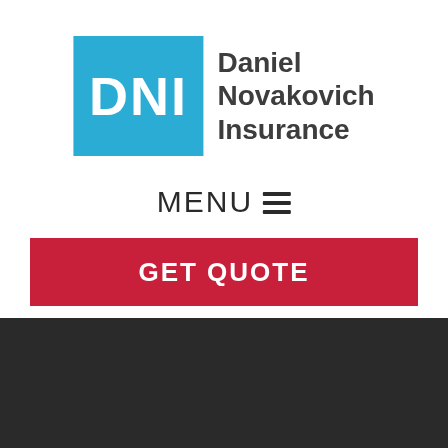[Figure (logo): Daniel Novakovich Insurance logo with blue DNI box and company name]
MENU ≡
GET QUOTE
Annual Insurance Checklist